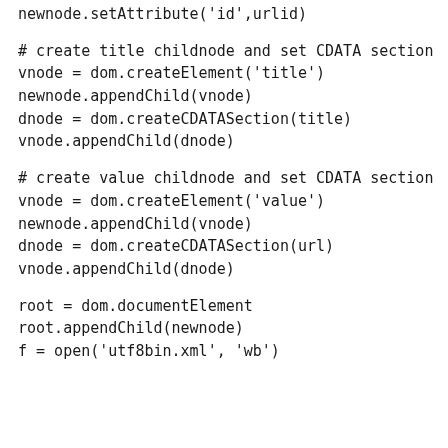newnode.setAttribute('id',urlid)
# create title childnode and set CDATA section
vnode = dom.createElement('title')
newnode.appendChild(vnode)
dnode = dom.createCDATASection(title)
vnode.appendChild(dnode)
# create value childnode and set CDATA section
vnode = dom.createElement('value')
newnode.appendChild(vnode)
dnode = dom.createCDATASection(url)
vnode.appendChild(dnode)
root = dom.documentElement
root.appendChild(newnode)
f = open('utf8bin.xml', 'wb')